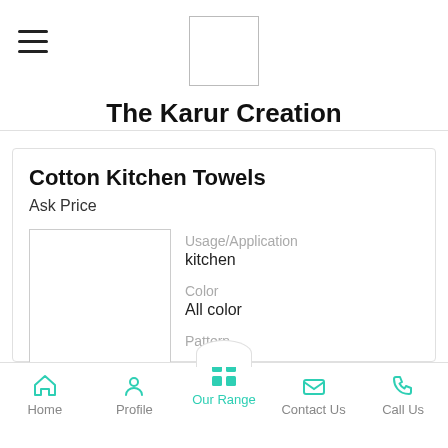The Karur Creation
Cotton Kitchen Towels
Ask Price
[Figure (photo): Product image placeholder box for Cotton Kitchen Towels]
Usage/Application
kitchen
Color
All color
Pattern
...more
Home   Profile   Our Range   Contact Us   Call Us